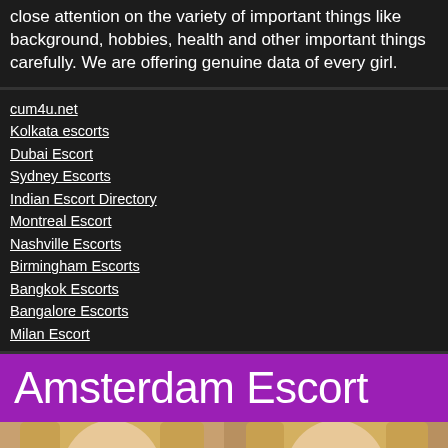close attention on the variety of important things like background, hobbies, health and other important things carefully. We are offering genuine data of every girl.
cum4u.net
Kolkata escorts
Dubai Escort
Sydney Escorts
Indian Escort Directory
Montreal Escort
Nashville Escorts
Birmingham Escorts
Bangkok Escorts
Bangalore Escorts
Milan Escort
[Figure (illustration): Amsterdam Escort banner with purple background and white text, with two blonde women photos below]